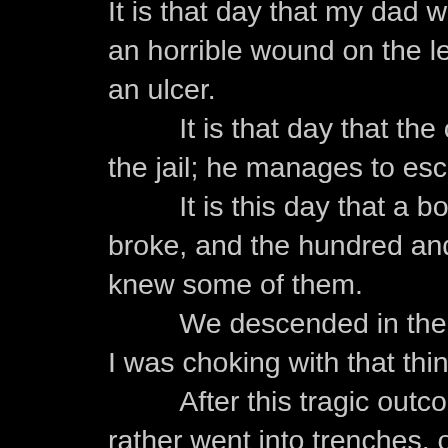It is that day that my dad was taken an horrible wound on the leg, on his s an ulcer. It is that day that the one who wou the jail; he manages to escape. It is this day that a bomb fell on a s broke, and the hundred and twenty p knew some of them. We descended in the caves with ga I was choking with that thing on my fac After this tragic outcome of a bom rather went into trenches, on the other It is since this day that I HATE WAR Since this time, I can no longer g It is very hard to see my father